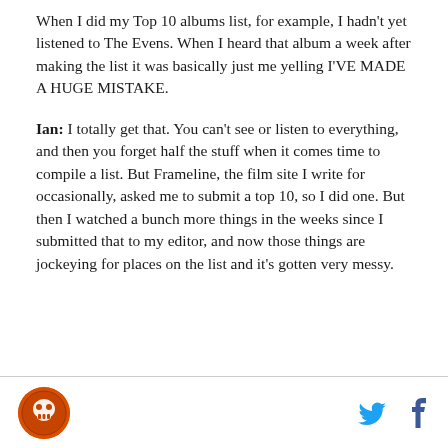When I did my Top 10 albums list, for example, I hadn't yet listened to The Evens. When I heard that album a week after making the list it was basically just me yelling I'VE MADE A HUGE MISTAKE.
Ian: I totally get that. You can't see or listen to everything, and then you forget half the stuff when it comes time to compile a list. But Frameline, the film site I write for occasionally, asked me to submit a top 10, so I did one. But then I watched a bunch more things in the weeks since I submitted that to my editor, and now those things are jockeying for places on the list and it's gotten very messy.
[logo] [twitter] [facebook]